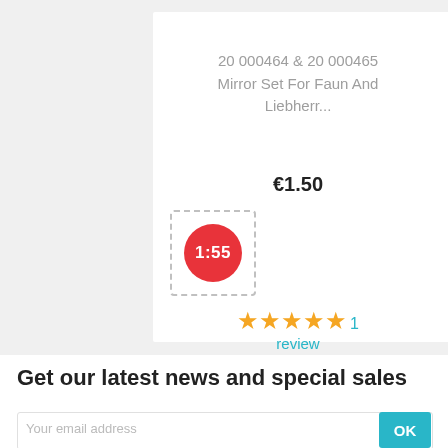20 000464 & 20 000465 Mirror Set For Faun And Liebherr...
€1.50
[Figure (other): Timer thumbnail showing a red circle with white text '1:55' inside a dashed-border white square]
★★★★★ 1 review
Get our latest news and special sales
Your email address